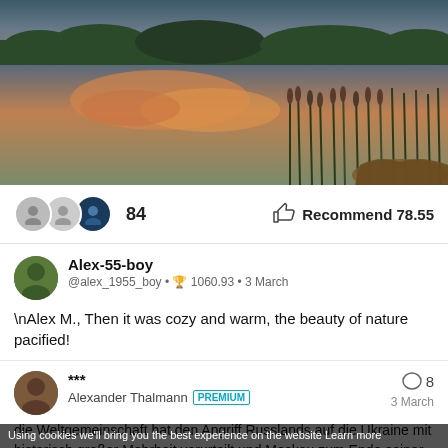[Figure (photo): Scenic lake/marsh at sunset with reed grass in foreground, orange clouds reflected in still water, dark treeline in background]
84   Recommend 78.55
Alex-55-boy
@alex_1955_boy • 1060.93 • 3 March
\nAlex M., Then it was cozy and warm, the beauty of nature pacified!
***
Alexander Thalmann PREMIUM   8
3 March
die Weltgemeinschaft hat den Angriff Russlands auf die Ukraine mit historisch großer Mehrheit verurteilt und Moskau zum Ende seiner
Using cookies we'll bring you the best experience on the website Learn more